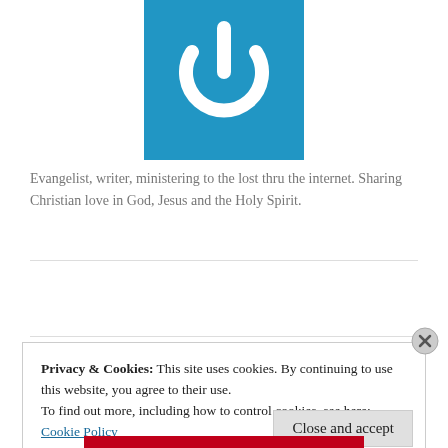[Figure (logo): Blue square logo with white power button icon]
Evangelist, writer, ministering to the lost thru the internet. Sharing Christian love in God, Jesus and the Holy Spirit.
Follow WORLDWIDE INTERNET EVANGELISM
Privacy & Cookies: This site uses cookies. By continuing to use this website, you agree to their use.
To find out more, including how to control cookies, see here: Cookie Policy
Close and accept